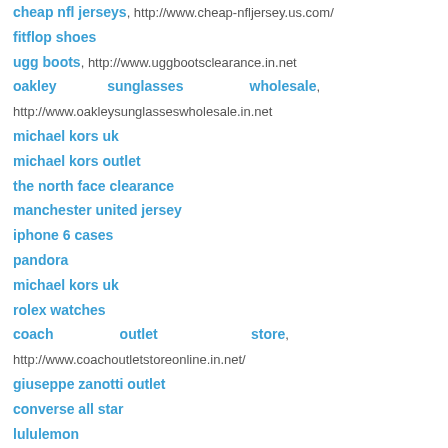cheap nfl jerseys, http://www.cheap-nfljersey.us.com/
fitflop shoes
ugg boots, http://www.uggbootsclearance.in.net
oakley sunglasses wholesale, http://www.oakleysunglasseswholesale.in.net
michael kors uk
michael kors outlet
the north face clearance
manchester united jersey
iphone 6 cases
pandora
michael kors uk
rolex watches
coach outlet store, http://www.coachoutletstoreonline.in.net/
giuseppe zanotti outlet
converse all star
lululemon
air max 2015
mcm handbags
michael kors factory outlet, http://www.michaelkorsfactoryoutlets.in.net/
michael kors factory outlet,